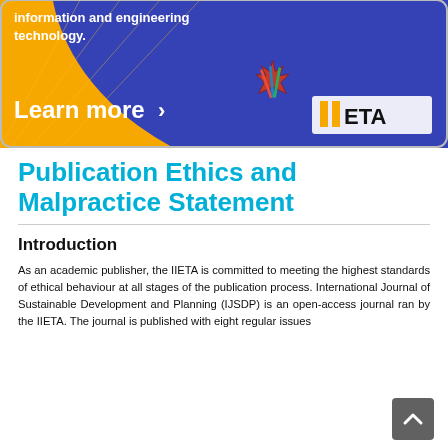[Figure (illustration): IIETA promotional banner with orange and blue gradient background, text 'information and engineering technology.', 'Learn more >' with IIETA logo and maple leaf graphic]
Publication Ethics and Malpractice Statement
Introduction
As an academic publisher, the IIETA is committed to meeting the highest standards of ethical behaviour at all stages of the publication process. International Journal of Sustainable Development and Planning (IJSDP) is an open-access journal ran by the IIETA. The journal is published with eight regular issues